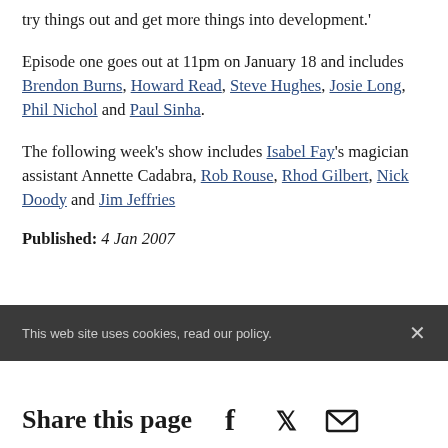try things out and get more things into development.'
Episode one goes out at 11pm on January 18 and includes Brendon Burns, Howard Read, Steve Hughes, Josie Long, Phil Nichol and Paul Sinha.
The following week's show includes Isabel Fay's magician assistant Annette Cadabra, Rob Rouse, Rhod Gilbert, Nick Doody and Jim Jeffries
Published: 4 Jan 2007
This web site uses cookies, read our policy.
Share this page